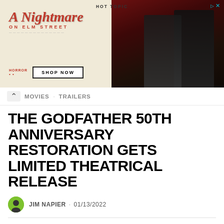[Figure (photo): Hot Topic advertisement banner for A Nightmare on Elm Street merchandise featuring two young people in dark clothing against a red curtain background, with Shop Now button]
MOVIES · TRAILERS
THE GODFATHER 50TH ANNIVERSARY RESTORATION GETS LIMITED THEATRICAL RELEASE
JIM NAPIER · 01/13/2022
In celebration of the 50th anniversary of Francis Ford Coppola's Academy Award®-winning* masterwork The Godfather, Paramount Pictures announced today that the film will have a limited theatrical release in Dolby Vision